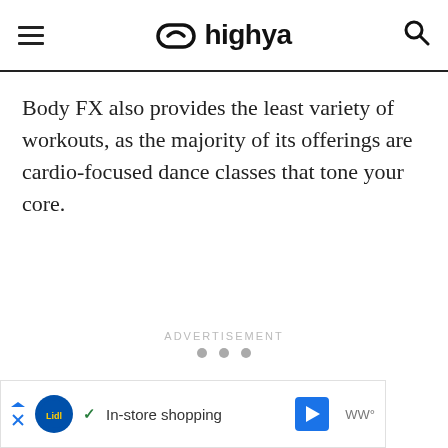highya
Body FX also provides the least variety of workouts, as the majority of its offerings are cardio-focused dance classes that tone your core.
ADVERTISEMENT
[Figure (other): Three pagination dots indicating a carousel or slideshow]
[Figure (other): Advertisement banner at bottom showing Lidl logo with text 'In-store shopping' and navigation icons]